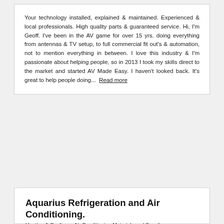Your technology installed, explained & maintained. Experienced & local professionals. High quality parts & guaranteed service. Hi, I'm Geoff. I've been in the AV game for over 15 yrs. doing everything from antennas & TV setup, to full commercial fit out's & automation, not to mention everything in between. I love this industry & I'm passionate about helping people, so in 2013 I took my skills direct to the market and started AV Made Easy. I haven't looked back. It's great to help people doing...  Read more
Aquarius Refrigeration and Air Conditioning.
Heating & Cooling > Air Conditioning Materials and Supplies
[Figure (photo): Image area below the Aquarius Refrigeration and Air Conditioning card header, appears blank/loading]